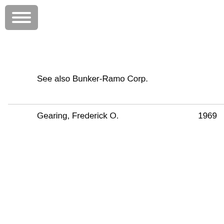[Figure (other): Menu/hamburger icon button — gray rounded rectangle with three white horizontal lines]
See also Bunker-Ramo Corp.
| Name | Year |
| --- | --- |
| Gearing, Frederick O. | 1969 |